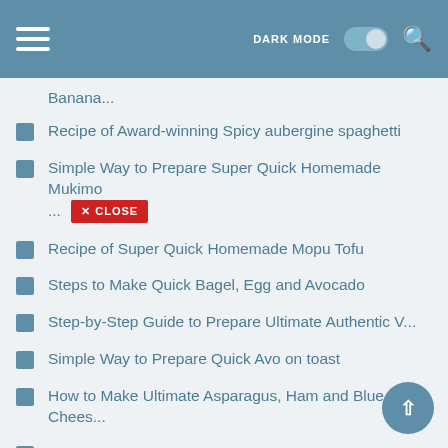DARK MODE [toggle] [search]
Banana...
Recipe of Award-winning Spicy aubergine spaghetti
Simple Way to Prepare Super Quick Homemade Mukimo ... [CLOSE]
Recipe of Super Quick Homemade Mopu Tofu
Steps to Make Quick Bagel, Egg and Avocado
Step-by-Step Guide to Prepare Ultimate Authentic V...
Simple Way to Prepare Quick Avo on toast
How to Make Ultimate Asparagus, Ham and Blue Chees...
Recipe of Quick Easy Hand Kneaded Bagel
Step-by-Step Guide to Prepare Ultimate Fermented B...
Recipe of Perfect Walnut Banana Bread